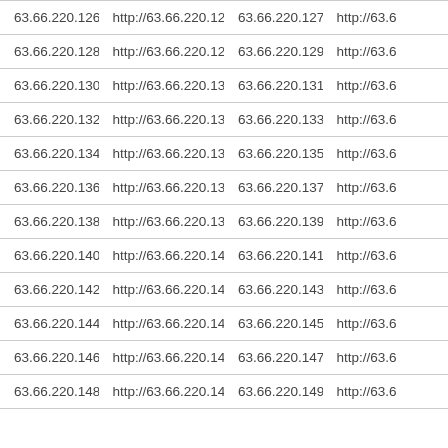| 63.66.220.126 | http://63.66.220.126 | 63.66.220.127 | http://63.6... |
| 63.66.220.128 | http://63.66.220.128 | 63.66.220.129 | http://63.6... |
| 63.66.220.130 | http://63.66.220.130 | 63.66.220.131 | http://63.6... |
| 63.66.220.132 | http://63.66.220.132 | 63.66.220.133 | http://63.6... |
| 63.66.220.134 | http://63.66.220.134 | 63.66.220.135 | http://63.6... |
| 63.66.220.136 | http://63.66.220.136 | 63.66.220.137 | http://63.6... |
| 63.66.220.138 | http://63.66.220.138 | 63.66.220.139 | http://63.6... |
| 63.66.220.140 | http://63.66.220.140 | 63.66.220.141 | http://63.6... |
| 63.66.220.142 | http://63.66.220.142 | 63.66.220.143 | http://63.6... |
| 63.66.220.144 | http://63.66.220.144 | 63.66.220.145 | http://63.6... |
| 63.66.220.146 | http://63.66.220.146 | 63.66.220.147 | http://63.6... |
| 63.66.220.148 | http://63.66.220.148 | 63.66.220.149 | http://63.6... |